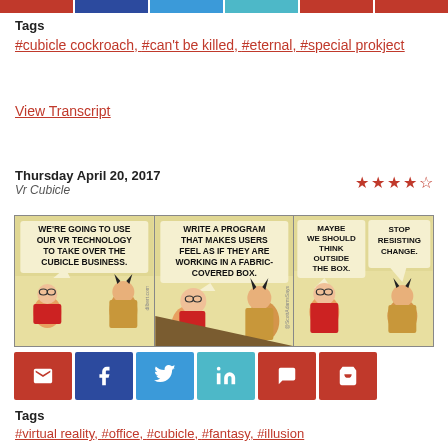[Figure (infographic): Row of colored social sharing buttons at top: red, dark blue, light blue, teal, red, red]
Tags
#cubicle cockroach, #can't be killed, #eternal, #special prokject
View Transcript
Thursday April 20, 2017
Vr Cubicle
[Figure (illustration): Dilbert comic strip titled 'Vr Cubicle' with three panels showing characters discussing VR technology and cubicle business. Panel 1: 'We're going to use our VR technology to take over the cubicle business.' Panel 2: 'Write a program that makes users feel as if they are working in a fabric-covered box.' Panel 3: 'Maybe we should think outside the box. Stop resisting change.']
[Figure (infographic): Row of colored social sharing buttons: email (red), facebook (dark blue), twitter (light blue), linkedin (teal), comment (red), cart (red)]
Tags
#virtual reality, #office, #cubicle, #fantasy, #illusion